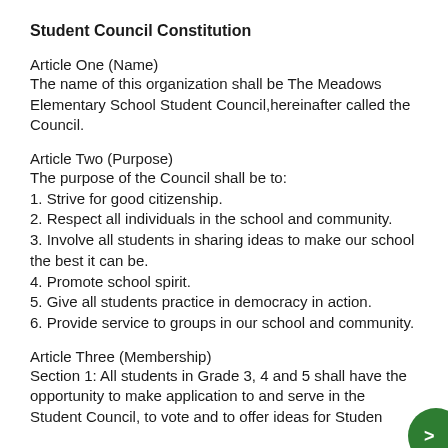Student Council Constitution
Article One (Name)
The name of this organization shall be The Meadows Elementary School Student Council,hereinafter called the Council.
Article Two (Purpose)
The purpose of the Council shall be to:
1. Strive for good citizenship.
2. Respect all individuals in the school and community.
3. Involve all students in sharing ideas to make our school the best it can be.
4. Promote school spirit.
5. Give all students practice in democracy in action.
6. Provide service to groups in our school and community.
Article Three (Membership)
Section 1: All students in Grade 3, 4 and 5 shall have the opportunity to make application to and serve in the Student Council, to vote and to offer ideas for Studen…